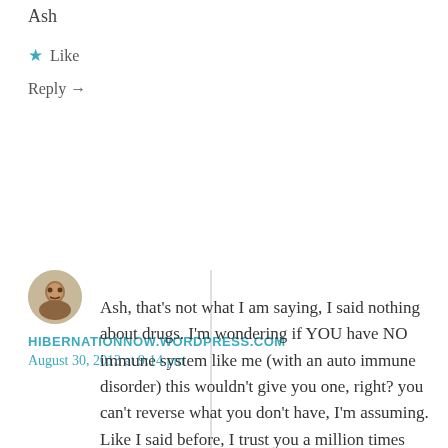Ash
★ Like
Reply →
HIBERNATIONNOW.WORDPRESS.COM
August 30, 2013 at 9:14 pm
Ash, that's not what I am saying, I said nothing about drugs. I'm wondering if YOU have NO immune system like me (with an auto immune disorder) this wouldn't give you one, right? you can't reverse what you don't have, I'm assuming. Like I said before, I trust you a million times